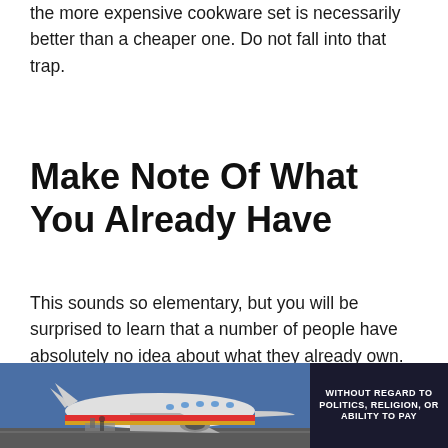the more expensive cookware set is necessarily better than a cheaper one. Do not fall into that trap.
Make Note Of What You Already Have
This sounds so elementary, but you will be surprised to learn that a number of people have absolutely no idea about what they already own.
This is especially true for people who do not
[Figure (photo): Advertisement banner showing an airplane on a tarmac with cargo, with bold text overlay reading 'WITHOUT REGARD TO POLITICS, RELIGION, OR ABILITY TO PAY']